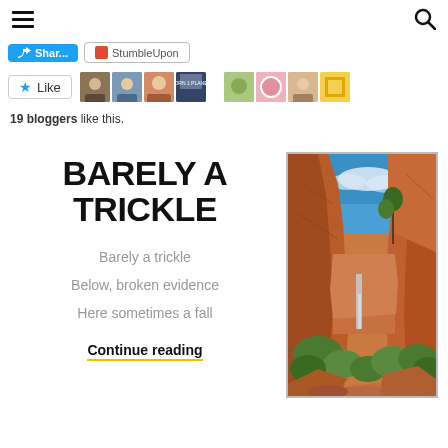≡  🔍
[Figure (screenshot): Share and StumbleUpon buttons in a social sharing bar]
[Figure (screenshot): Like button with star icon and 8 blogger avatar thumbnails]
19 bloggers like this.
BARELY A TRICKLE
Barely a trickle
Below, broken evidence
Here sometimes a fall
Continue reading
[Figure (photo): Photograph of red rock canyon (Zion National Park) with cliffs, green vegetation, a small waterfall, and blue sky]